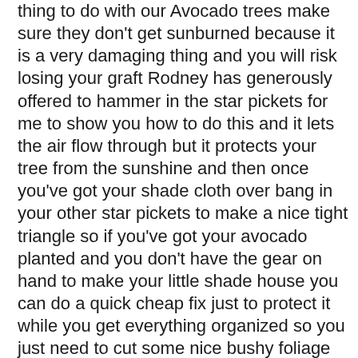thing to do with our Avocado trees make sure they don't get sunburned because it is a very damaging thing and you will risk losing your graft Rodney has generously offered to hammer in the star pickets for me to show you how to do this and it lets the air flow through but it protects your tree from the sunshine and then once you've got your shade cloth over bang in your other star pickets to make a nice tight triangle so if you've got your avocado planted and you don't have the gear on hand to make your little shade house you can do a quick cheap fix just to protect it while you get everything organized so you just need to cut some nice bushy foliage off an existing tree from your garden Callistemons are great melaleucas are great this is Nandina it's just going to work as a temporary shade wall and you're going to pop it in on the western